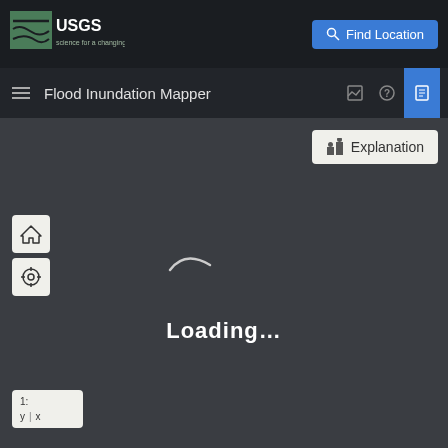[Figure (screenshot): USGS logo with text 'science for a changing world' on dark background]
[Figure (screenshot): Find Location button with search icon, blue background]
Flood Inundation Mapper
[Figure (screenshot): Navigation bar with hamburger menu, toolbar icons (expand, help, save)]
[Figure (screenshot): Explanation button with legend icon]
[Figure (screenshot): Home button (house icon) on left side]
[Figure (screenshot): Location/crosshair button on left side]
[Figure (screenshot): Loading spinner arc animation]
Loading...
[Figure (screenshot): Scale/coordinate display box showing 1:, y|x]